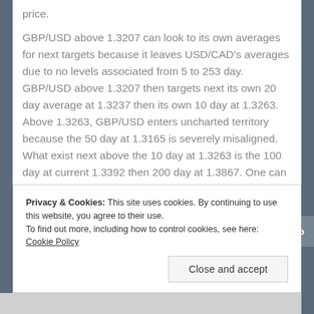price.
GBP/USD above 1.3207 can look to its own averages for next targets because it leaves USD/CAD's averages due to no levels associated from 5 to 253 day. GBP/USD above 1.3207 then targets next its own 20 day average at 1.3237 then its own 10 day at 1.3263. Above 1.3263, GBP/USD enters uncharted territory because the 50 day at 1.3165 is severely misaligned. What exist next above the 10 day at 1.3263 is the 100 day at current 1.3392 then 200 day at 1.3867. One can understand why the collision in GBP/USD  1.3237 and USD/CAD
Privacy & Cookies: This site uses cookies. By continuing to use this website, you agree to their use.
To find out more, including how to control cookies, see here: Cookie Policy